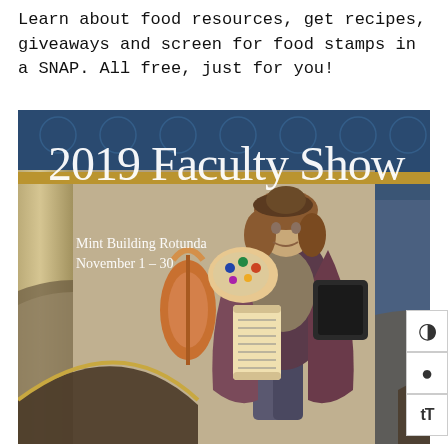Learn about food resources, get recipes, giveaways and screen for food stamps in a SNAP. All free, just for you!
[Figure (photo): Promotional image for the 2019 Faculty Show at Mint Building Rotunda, November 1-30. Shows a decorative statue of a Renaissance-style figure holding a violin, artist palette, camera, and scroll, set against an ornate architectural interior with arches and blue patterned ceiling. White text overlay reads '2019 Faculty Show' and 'Mint Building Rotunda / November 1 – 30'.]